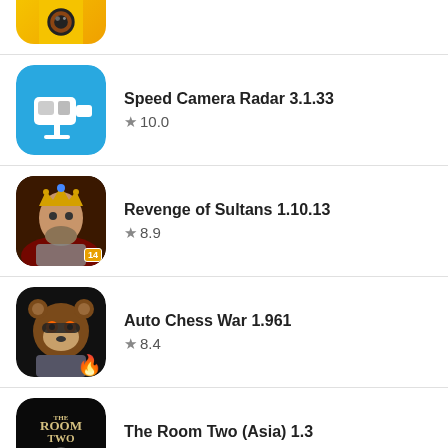[Figure (screenshot): Partial app icon visible at top - colorful camera/ball app on yellow background]
[Figure (screenshot): Speed Camera Radar app icon - blue background with white speed camera]
Speed Camera Radar 3.1.33
★ 10.0
[Figure (screenshot): Revenge of Sultans app icon - warrior with crown, rated 14+]
Revenge of Sultans 1.10.13
★ 8.9
[Figure (screenshot): Auto Chess War app icon - armored bear character with fire badge]
Auto Chess War 1.961
★ 8.4
[Figure (screenshot): The Room Two (Asia) app icon - dark mysterious puzzle game cover]
The Room Two (Asia) 1.3
★ 8.0